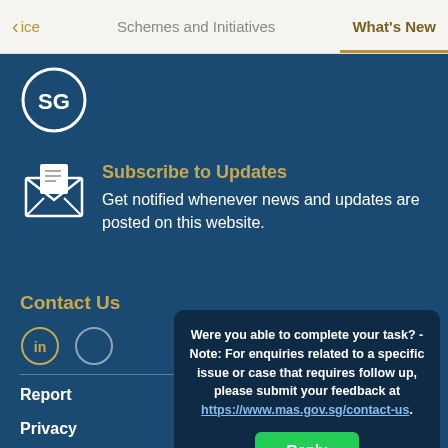< ace   Schemes and Initiatives   What's New
[Figure (logo): SG circular logo with 'SG' text in white circle on dark blue background]
Subscribe to Updates
Get notified whenever news and updates are posted on this website.
Contact Us
[Figure (infographic): Social media icons: LinkedIn circle icon and another circle icon]
Report
Privacy
Were you able to complete your task? - Note: For enquiries related to a specific issue or case that requires follow up, please submit your feedback at https://www.mas.gov.sg/contact-us.
Reply